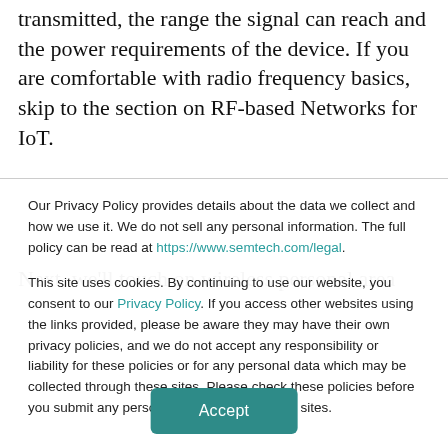transmitted, the range the signal can reach and the power requirements of the device. If you are comfortable with radio frequency basics, skip to the section on RF-based Networks for IoT.
Next, we'll touch on wireless personal area
Our Privacy Policy provides details about the data we collect and how we use it. We do not sell any personal information. The full policy can be read at https://www.semtech.com/legal.
This site uses cookies. By continuing to use our website, you consent to our Privacy Policy. If you access other websites using the links provided, please be aware they may have their own privacy policies, and we do not accept any responsibility or liability for these policies or for any personal data which may be collected through these sites. Please check these policies before you submit any personal information to these sites.